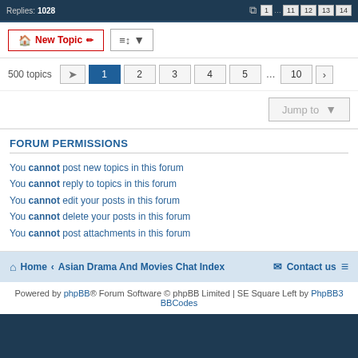Replies: 1028  [pages: 1 ... 11 12 13 14]
New Topic  [sort]
500 topics  [goto] 1 2 3 4 5 ... 10 [next]
Jump to
FORUM PERMISSIONS
You cannot post new topics in this forum
You cannot reply to topics in this forum
You cannot edit your posts in this forum
You cannot delete your posts in this forum
You cannot post attachments in this forum
Home · Asian Drama And Movies Chat Index    Contact us
Powered by phpBB® Forum Software © phpBB Limited | SE Square Left by PhpBB3 BBCodes